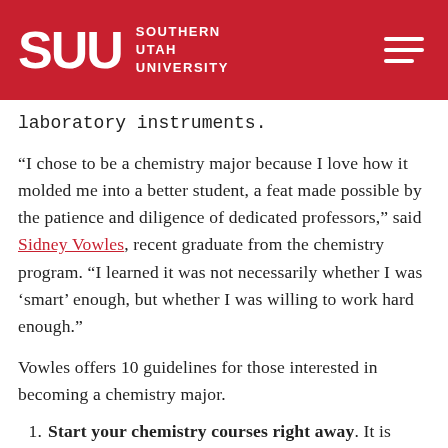SUU SOUTHERN UTAH UNIVERSITY
laboratory instruments.
“I chose to be a chemistry major because I love how it molded me into a better student, a feat made possible by the patience and diligence of dedicated professors,” said Sidney Vowles, recent graduate from the chemistry program. “I learned it was not necessarily whether I was ‘smart’ enough, but whether I was willing to work hard enough.”
Vowles offers 10 guidelines for those interested in becoming a chemistry major.
Start your chemistry courses right away. It is